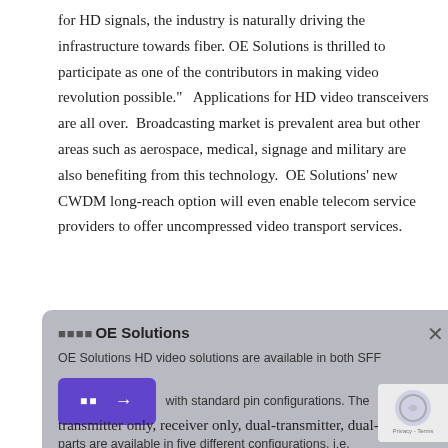for HD signals, the industry is naturally driving the infrastructure towards fiber. OE Solutions is thrilled to participate as one of the contributors in making video revolution possible."   Applications for HD video transceivers are all over.  Broadcasting market is prevalent area but other areas such as aerospace, medical, signage and military are also benefiting from this technology.  OE Solutions' new CWDM long-reach option will even enable telecom service providers to offer uncompressed video transport services.
[Figure (screenshot): A popup overlay with gray translucent background showing OE Solutions branding, a purple button with squares and arrow icon, and partial text about OE Solutions HD video solutions available in SFF with standard pin configurations, five different configurations.]
transmitter only, receiver only, dual-transmitter, dual-